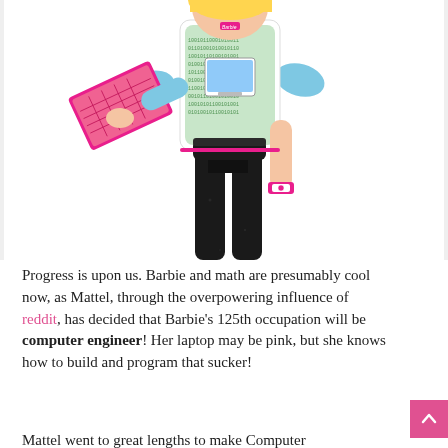[Figure (photo): A Barbie doll dressed as a computer engineer, wearing a white vest with green binary code pattern over a blue long-sleeve shirt, holding a pink laptop, wearing black pants and a pink watch. The doll is shown from approximately the waist up to slightly above the head, cropped at the top.]
Progress is upon us. Barbie and math are presumably cool now, as Mattel, through the overpowering influence of reddit, has decided that Barbie's 125th occupation will be computer engineer! Her laptop may be pink, but she knows how to build and program that sucker!
Mattel went to great lengths to make Computer